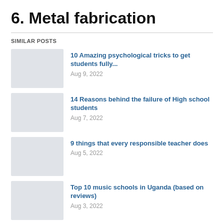6. Metal fabrication
SIMILAR POSTS
10 Amazing psychological tricks to get students fully...
Aug 9, 2022
14 Reasons behind the failure of High school students
Aug 7, 2022
9 things that every responsible teacher does
Aug 5, 2022
Top 10 music schools in Uganda (based on reviews)
Aug 3, 2022